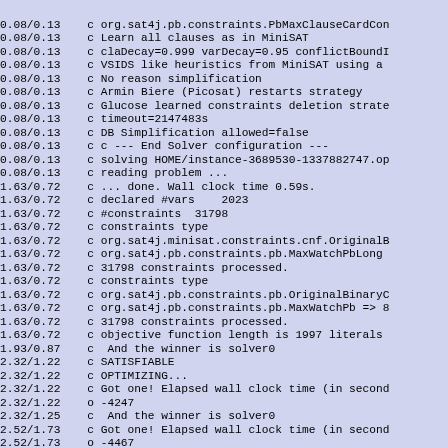0.08/0.13    c org.sat4j.pb.constraints.PbMaxClauseCardCon
0.08/0.13    c Learn all clauses as in MiniSAT
0.08/0.13    c claDecay=0.999 varDecay=0.95 conflictBoundI
0.08/0.13    c VSIDS like heuristics from MiniSAT using a
0.08/0.13    c No reason simplification
0.08/0.13    c Armin Biere (Picosat) restarts strategy
0.08/0.13    c Glucose learned constraints deletion strate
0.08/0.13    c timeout=2147483s
0.08/0.13    c DB Simplification allowed=false
0.08/0.13    c c --- End Solver configuration ---
0.08/0.13    c solving HOME/instance-3689530-1337882747.op
0.08/0.13    c reading problem ...
1.63/0.72    c ... done. Wall clock time 0.59s.
1.63/0.72    c declared #vars    2023
1.63/0.72    c #constraints  31798
1.63/0.72    c constraints type
1.63/0.72    c org.sat4j.minisat.constraints.cnf.OriginalB
1.63/0.72    c org.sat4j.pb.constraints.pb.MaxWatchPbLong
1.63/0.72    c 31798 constraints processed.
1.63/0.72    c constraints type
1.63/0.72    c org.sat4j.pb.constraints.pb.OriginalBinaryC
1.63/0.72    c org.sat4j.pb.constraints.pb.MaxWatchPb => 8
1.63/0.72    c 31798 constraints processed.
1.63/0.72    c objective function length is 1997 literals
1.93/0.87    c  And the winner is solver0
2.32/1.22    c SATISFIABLE
2.32/1.22    c OPTIMIZING...
2.32/1.22    c Got one! Elapsed wall clock time (in second
2.32/1.22    o -4247
2.32/1.25    c  And the winner is solver0
2.52/1.73    c Got one! Elapsed wall clock time (in second
2.52/1.73    o -4467
6.49/3.22    c  And the winner is solver1